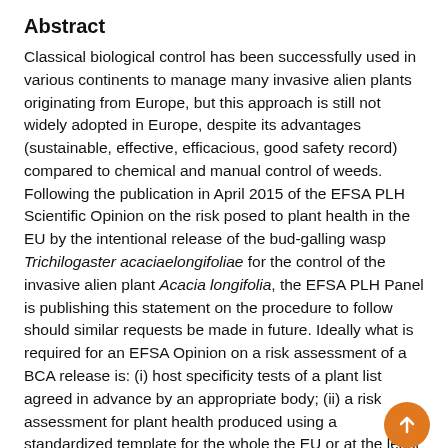Abstract
Classical biological control has been successfully used in various continents to manage many invasive alien plants originating from Europe, but this approach is still not widely adopted in Europe, despite its advantages (sustainable, effective, efficacious, good safety record) compared to chemical and manual control of weeds. Following the publication in April 2015 of the EFSA PLH Scientific Opinion on the risk posed to plant health in the EU by the intentional release of the bud-galling wasp Trichilogaster acaciaelongifoliae for the control of the invasive alien plant Acacia longifolia, the EFSA PLH Panel is publishing this statement on the procedure to follow should similar requests be made in future. Ideally what is required for an EFSA Opinion on a risk assessment of a BCA release is: (i) host specificity tests of a plant list agreed in advance by an appropriate body; (ii) a risk assessment for plant health produced using a standardized template for the whole the EU or at the least for an appropriate bio-climatic area